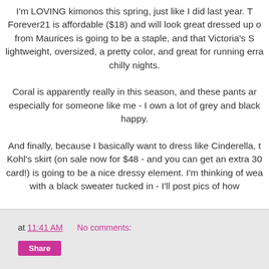I'm LOVING kimonos this spring, just like I did last year. T Forever21 is affordable ($18) and will look great dressed up o from Maurices is going to be a staple, and that Victoria's S lightweight, oversized, a pretty color, and great for running erra chilly nights.
Coral is apparently really in this season, and these pants ar especially for someone like me - I own a lot of grey and black happy.
And finally, because I basically want to dress like Cinderella, t Kohl's skirt (on sale now for $48 - and you can get an extra 30 card!) is going to be a nice dressy element. I'm thinking of wea with a black sweater tucked in - I'll post pics of how
Anyone else lusting over new spring pieces on a
at 11:41 AM   No comments:   Share